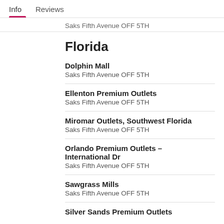Info	Reviews
Saks Fifth Avenue OFF 5TH
Florida
Dolphin Mall
Saks Fifth Avenue OFF 5TH
Ellenton Premium Outlets
Saks Fifth Avenue OFF 5TH
Miromar Outlets, Southwest Florida
Saks Fifth Avenue OFF 5TH
Orlando Premium Outlets – International Dr
Saks Fifth Avenue OFF 5TH
Sawgrass Mills
Saks Fifth Avenue OFF 5TH
Silver Sands Premium Outlets